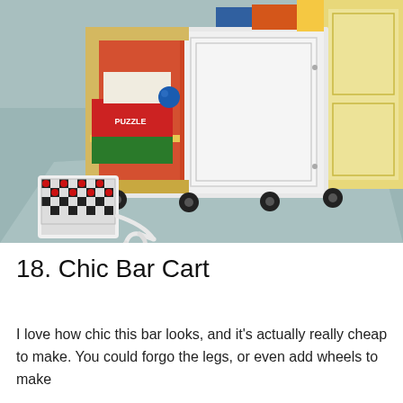[Figure (photo): A children's toy storage cart on wheels (casters), with an open cubby compartment on the left showing puzzle boxes, board games, and colorful toys inside an orange-lined shelf. The right side has a white cabinet door. On the teal/grey carpet in front is a checkerboard game board with checkers pieces and a white rope.]
18. Chic Bar Cart
I love how chic this bar looks, and it's actually really cheap to make. You could forgo the legs, or even add wheels to make